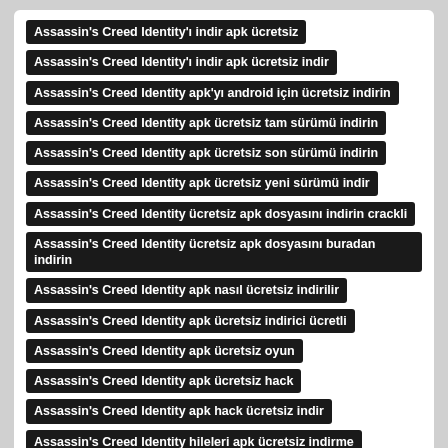Assassin's Creed Identity'ı indir apk ücretsiz
Assassin's Creed Identity'ı indir apk ücretsiz indir
Assassin's Creed Identity apk'yı android için ücretsiz indirin
Assassin's Creed Identity apk ücretsiz tam sürümü indirin
Assassin's Creed Identity apk ücretsiz son sürümü indirin
Assassin's Creed Identity apk ücretsiz yeni sürümü indir
Assassin's Creed Identity ücretsiz apk dosyasını indirin crackli
Assassin's Creed Identity ücretsiz apk dosyasını buradan indirin
Assassin's Creed Identity apk nasıl ücretsiz indirilir
Assassin's Creed Identity apk ücretsiz indirici ücretli
Assassin's Creed Identity apk ücretsiz oyun
Assassin's Creed Identity apk ücretsiz hack
Assassin's Creed Identity apk hack ücretsiz indir
Assassin's Creed Identity hileleri apk ücretsiz indirme
Assassin's Creed Identity Ücretsiz APK İndir Aptoide
Assassin's Creed Identity hd apk ücretsiz indirme